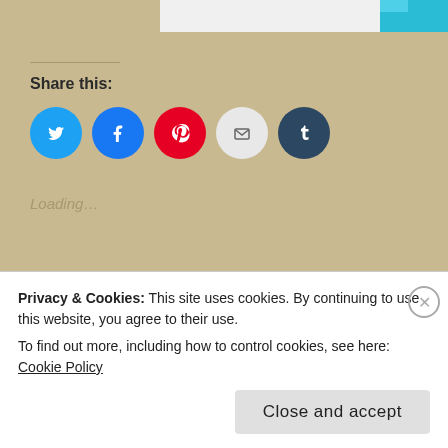[Figure (screenshot): Partial top image strip with white content area and cyan/blue element on right]
Share this:
[Figure (infographic): Social sharing icon buttons: Twitter (blue), Facebook (blue), Pinterest (red), Email (light grey), Tumblr (dark blue)]
Loading…
Related
Loneliness
March 6, 2014
In "Travelling"
It happened on the way to Munich
May 2, 2016
Privacy & Cookies: This site uses cookies. By continuing to use this website, you agree to their use.
To find out more, including how to control cookies, see here: Cookie Policy
Close and accept